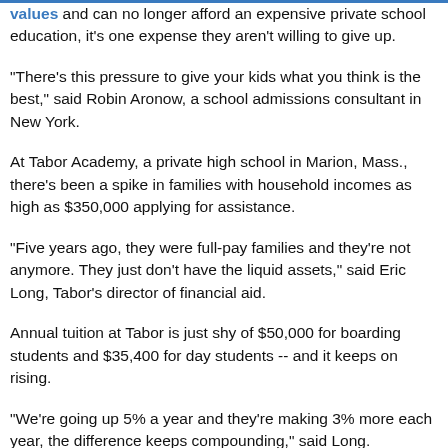values and can no longer afford an expensive private school education, it's one expense they aren't willing to give up.
"There's this pressure to give your kids what you think is the best," said Robin Aronow, a school admissions consultant in New York.
At Tabor Academy, a private high school in Marion, Mass., there's been a spike in families with household incomes as high as $350,000 applying for assistance.
"Five years ago, they were full-pay families and they're not anymore. They just don't have the liquid assets," said Eric Long, Tabor's director of financial aid.
Annual tuition at Tabor is just shy of $50,000 for boarding students and $35,400 for day students -- and it keeps on rising.
"We're going up 5% a year and they're making 3% more each year, the difference keeps compounding," said Long.
The same holds true at Sewickley Academy in Pittsburgh, where tuition averages about $20,000 a year for grades kindergarten through 12.